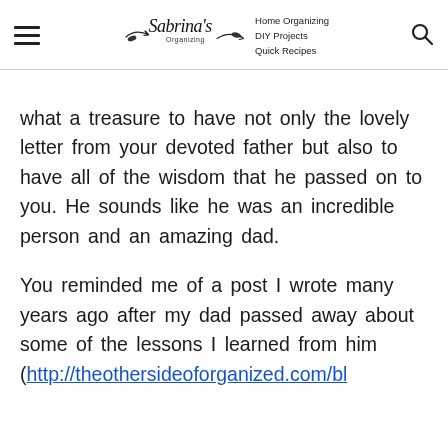Sabrina's Organizing — Home Organizing, DIY Projects, Quick Recipes
what a treasure to have not only the lovely letter from your devoted father but also to have all of the wisdom that he passed on to you. He sounds like he was an incredible person and an amazing dad.
You reminded me of a post I wrote many years ago after my dad passed away about some of the lessons I learned from him (http://theothersideoforganized.com/bl